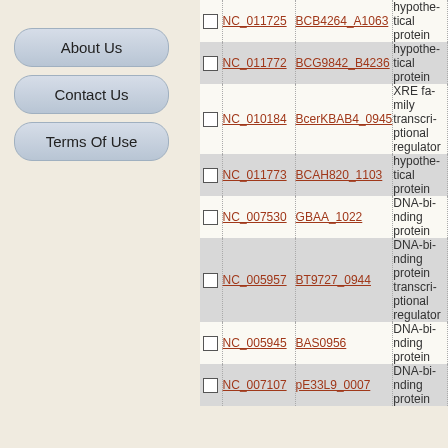About Us
Contact Us
Terms Of Use
|  | NC | Gene | Description |
| --- | --- | --- | --- |
| ☐ | NC_011725 | BCB4264_A1063 | hypothetical protein |
| ☐ | NC_011772 | BCG9842_B4236 | hypothetical protein |
| ☐ | NC_010184 | BcerKBAB4_0945 | XRE family transcriptional regulator |
| ☐ | NC_011773 | BCAH820_1103 | hypothetical protein |
| ☐ | NC_007530 | GBAA_1022 | DNA-binding protein |
| ☐ | NC_005957 | BT9727_0944 | DNA-binding protein transcriptional regulator |
| ☐ | NC_005945 | BAS0956 | DNA-binding protein |
| ☐ | NC_007107 | pE33L9_0007 | DNA-binding protein |